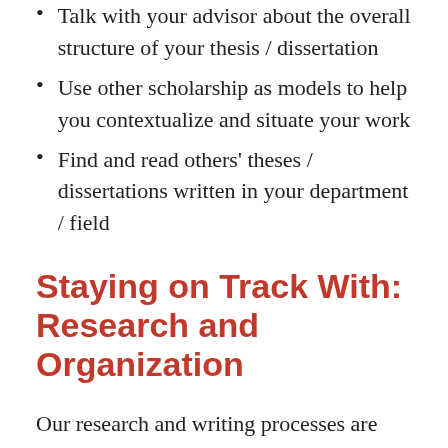Talk with your advisor about the overall structure of your thesis / dissertation
Use other scholarship as models to help you contextualize and situate your work
Find and read others' theses / dissertations written in your department / field
Staying on Track With: Research and Organization
Our research and writing processes are interconnected, so set yourself up for success by developing effective habits for managing your sources